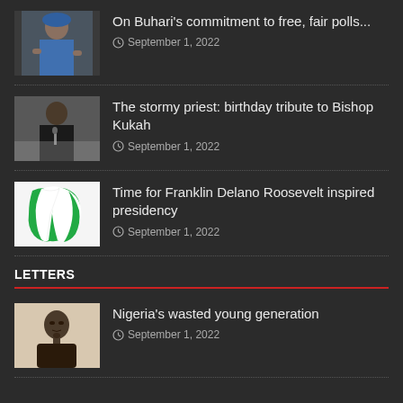[Figure (photo): Photo of Buhari speaking]
On Buhari’s commitment to free, fair polls...
September 1, 2022
[Figure (photo): Photo of Bishop Kukah at podium]
The stormy priest: birthday tribute to Bishop Kukah
September 1, 2022
[Figure (photo): Nigeria flag map illustration]
Time for Franklin Delano Roosevelt inspired presidency
September 1, 2022
LETTERS
[Figure (photo): Black and white portrait of a young man]
Nigeria’s wasted young generation
September 1, 2022